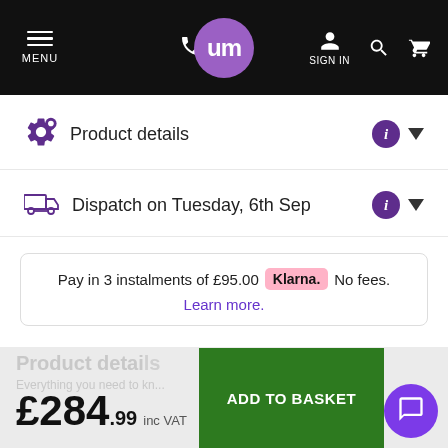MENU | um | SIGN IN
Product details
Dispatch on Tuesday, 6th Sep
Pay in 3 instalments of £95.00 Klarna. No fees. Learn more.
Product details
Everything you need to kn...
£284.99 inc VAT
ADD TO BASKET